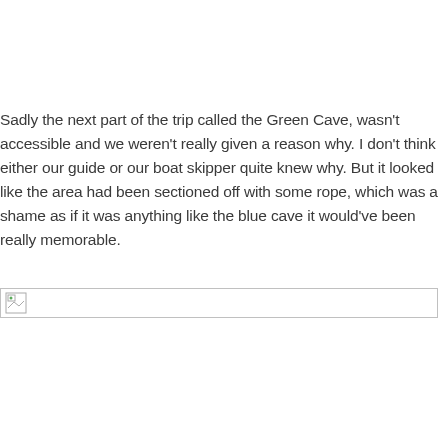Sadly the next part of the trip called the Green Cave, wasn't accessible and we weren't really given a reason why. I don't think either our guide or our boat skipper quite knew why. But it looked like the area had been sectioned off with some rope, which was a shame as if it was anything like the blue cave it would've been really memorable.
[Figure (photo): Broken/missing image placeholder showing a small broken image icon on the left side of a bordered rectangle]